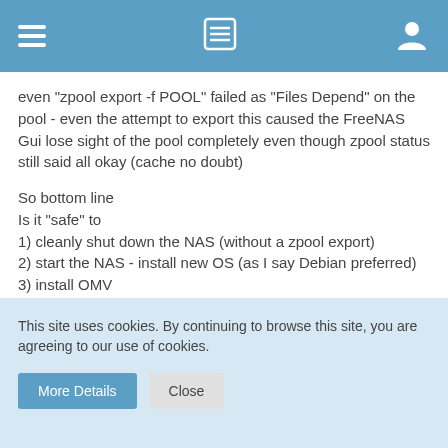Navigation header bar with hamburger menu, list icon, and user icon
even "zpool export -f POOL" failed as "Files Depend" on the pool - even the attempt to export this caused the FreeNAS Gui lose sight of the pool completely even though zpool status still said all okay (cache no doubt)
So bottom line
Is it "safe" to
1) cleanly shut down the NAS (without a zpool export)
2) start the NAS - install new OS (as I say Debian preferred)
3) install OMV
4) Import the FreeNAS 10 created pool straight into OMV
Am I likely to hit immeasurable road blocks and diversions - forcing me to need to create the pool from scratch?
This site uses cookies. By continuing to browse this site, you are agreeing to our use of cookies.